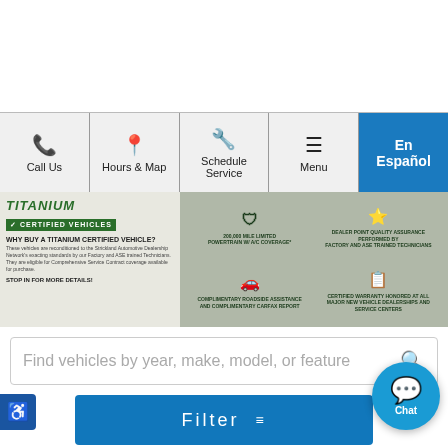[Figure (screenshot): Navigation bar with Call Us, Hours & Map, Schedule Service, Menu, and En Español buttons]
[Figure (photo): Titanium Certified Vehicles banner advertisement with features listed]
Find vehicles by year, make, model, or feature
Filter
New ×
Super Duty F-450 DRW ×
Super Duty F-550 DRW ×
Super Duty F-350 DRW ×